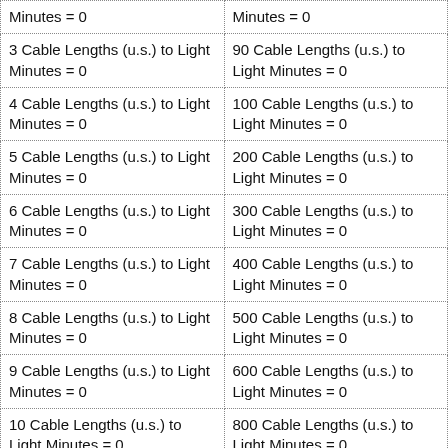| Minutes = 0 | Minutes = 0 |
| 3 Cable Lengths (u.s.) to Light Minutes = 0 | 90 Cable Lengths (u.s.) to Light Minutes = 0 |
| 4 Cable Lengths (u.s.) to Light Minutes = 0 | 100 Cable Lengths (u.s.) to Light Minutes = 0 |
| 5 Cable Lengths (u.s.) to Light Minutes = 0 | 200 Cable Lengths (u.s.) to Light Minutes = 0 |
| 6 Cable Lengths (u.s.) to Light Minutes = 0 | 300 Cable Lengths (u.s.) to Light Minutes = 0 |
| 7 Cable Lengths (u.s.) to Light Minutes = 0 | 400 Cable Lengths (u.s.) to Light Minutes = 0 |
| 8 Cable Lengths (u.s.) to Light Minutes = 0 | 500 Cable Lengths (u.s.) to Light Minutes = 0 |
| 9 Cable Lengths (u.s.) to Light Minutes = 0 | 600 Cable Lengths (u.s.) to Light Minutes = 0 |
| 10 Cable Lengths (u.s.) to Light Minutes = 0 | 800 Cable Lengths (u.s.) to Light Minutes = 0 |
| 20 Cable Lengths (u.s.) to Light Minutes = 0 | 900 Cable Lengths (u.s.) to Light Minutes = 0 |
| 30 Cable Lengths (u.s.) to Light | 1,000 Cable Lengths (u.s.) to |